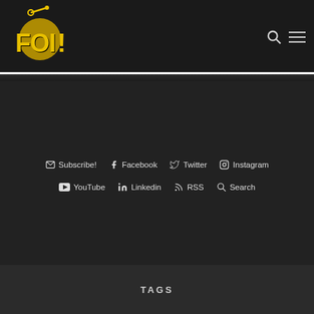[Figure (logo): FOI! logo in yellow pixel/dot art style with grenade image on dark background]
Subscribe!
Facebook
Twitter
Instagram
YouTube
Linkedin
RSS
Search
TAGS